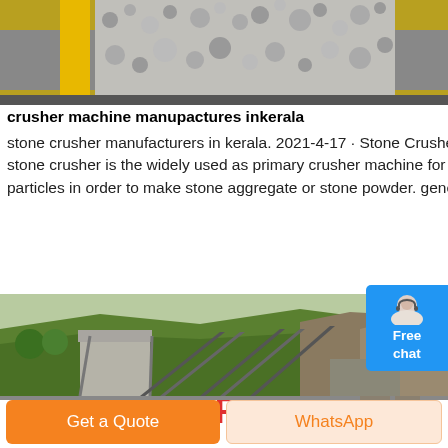[Figure (photo): Close-up photo of stone/gravel aggregate on a yellow conveyor belt surface, industrial crusher machine setting.]
crusher machine manupactures inkerala
stone crusher manufacturers in kerala. 2021-4-17 · Stone Crusher Manufacturers Amp Suppliers In India. get quote. stone crusher ask price. stone crusher is the widely used as primary crusher machine for crushing process. stone crusher is needed to crush the large stone into small particles in order to make stone aggregate or stone powder. generally we manufacture all type of spare parts for
[Figure (infographic): Blue rounded rectangle widget with a small customer service avatar (woman with headset) and text 'Free chat' in white on blue background]
Get Price
[Figure (photo): Outdoor industrial stone crusher plant with conveyor belts, machinery structures, and green forested hills and rocky mountain in background.]
Get a Quote
WhatsApp